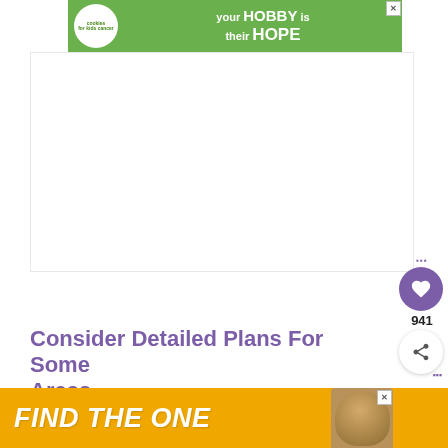[Figure (other): Advertisement banner: green background with Cookies for Kids Cancer logo and text 'your HOBBY is their HOPE']
[Figure (other): Large white advertisement space placeholder]
Consider Detailed Plans For Some Areas
Master plans are not just for rough ideas of your whole landscape. After exploring plans fo... e
[Figure (other): Bottom advertisement banner: yellow/orange background with text 'FIND THE ONE' and dog image]